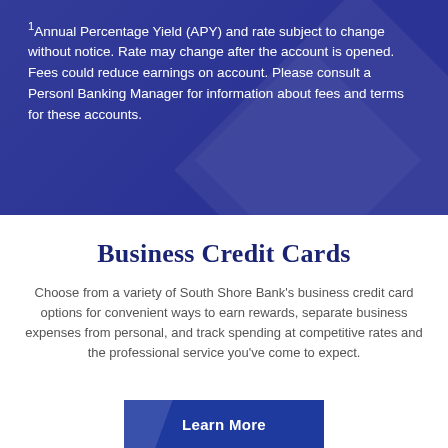1Annual Percentage Yield (APY) and rate subject to change without notice. Rate may change after the account is opened. Fees could reduce earnings on account. Please consult a Personl Banking Manager for information about fees and terms for these accounts.
Business Credit Cards
Choose from a variety of South Shore Bank's business credit card options for convenient ways to earn rewards, separate business expenses from personal, and track spending at competitive rates and the professional service you've come to expect.
Learn More